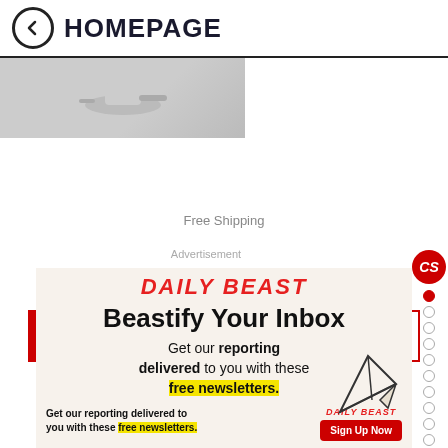← HOMEPAGE
[Figure (photo): Product image strip, partially visible, showing a metallic/kitchen item on grey background]
Buy at Amazon  $28
Free Shipping
Advertisement
[Figure (infographic): Daily Beast newsletter advertisement. Headline: Beastify Your Inbox. Body: Get our reporting delivered to you with these free newsletters. Footer: Get our reporting delivered to you with these free newsletters. Sign Up Now button.]